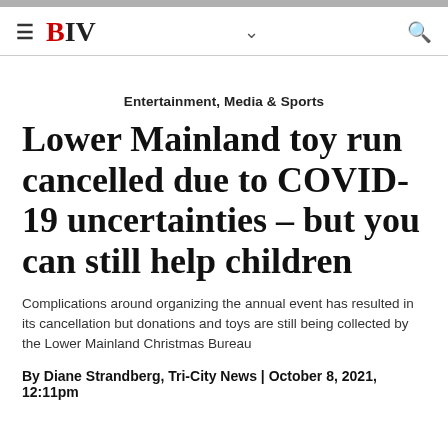BIV
Entertainment, Media & Sports
Lower Mainland toy run cancelled due to COVID-19 uncertainties – but you can still help children
Complications around organizing the annual event has resulted in its cancellation but donations and toys are still being collected by the Lower Mainland Christmas Bureau
By Diane Strandberg, Tri-City News | October 8, 2021, 12:11pm